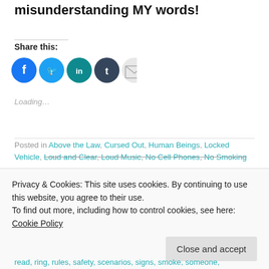misunderstanding MY words!
Share this:
[Figure (infographic): Row of social share icons: Facebook (blue circle), Twitter (light blue circle), LinkedIn (teal circle), Tumblr (dark blue circle), Email (light grey circle)]
Loading...
Posted in Above the Law, Cursed Out, Human Beings, Locked Vehicle, Loud and Clear, Loud Music, No Cell Phones, No Smoking
Privacy & Cookies: This site uses cookies. By continuing to use this website, you agree to their use.
To find out more, including how to control cookies, see here: Cookie Policy
Close and accept
read, ring, rules, safety, scenarios, signs, smoke, someone,